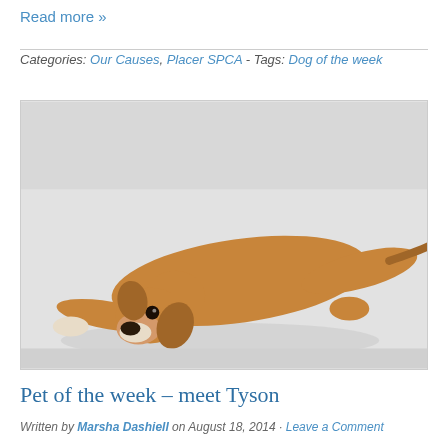Read more »
Categories: Our Causes, Placer SPCA - Tags: Dog of the week
[Figure (photo): A tan/brown dog lying stretched out sideways on a white background, looking at the camera with a relaxed pose, white paws visible, with a long tail extending to the right.]
Pet of the week – meet Tyson
Written by Marsha Dashiell on August 18, 2014 · Leave a Comment